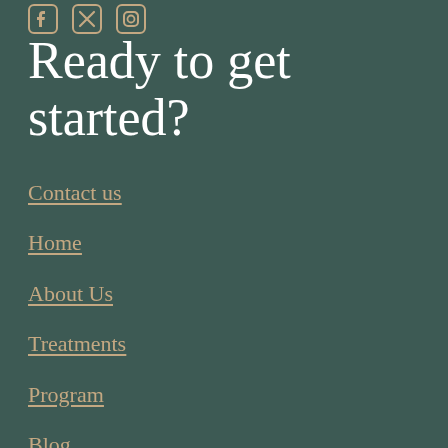[Figure (other): Social media icons: Facebook, Twitter/X, Instagram shown as outline icons]
Ready to get started?
Contact us
Home
About Us
Treatments
Program
Blog
Staff
Addi...